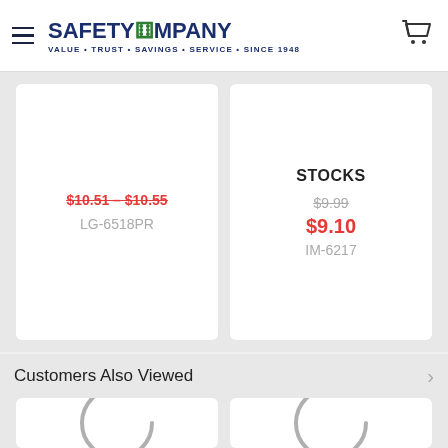SafetyCompany — VALUE • TRUST • SAVINGS • SERVICE • SINCE 1948
$10.51 - $10.55
LG-6518PR
STOCKS
$9.99
$9.10
IM-6217
Customers Also Viewed
[Figure (other): Loading spinner / circular arc indicating content loading]
[Figure (other): Loading spinner / circular arc indicating content loading]